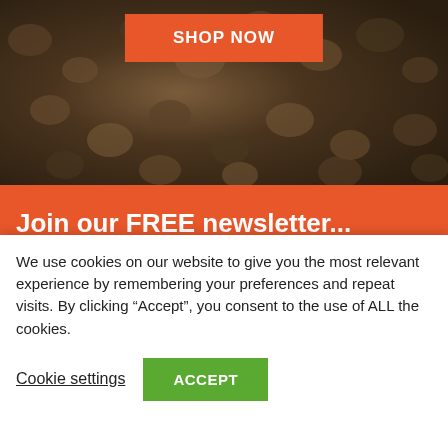[Figure (photo): Blurry overhead photo of seeds or nuts forming a dark textured background]
SHOP NOW
Join our FREE newsletter...
Your email address
SIGN UP
I agree to receive The Greenhouse Effect newsletter
We use cookies on our website to give you the most relevant experience by remembering your preferences and repeat visits. By clicking “Accept”, you consent to the use of ALL the cookies.
Cookie settings
ACCEPT